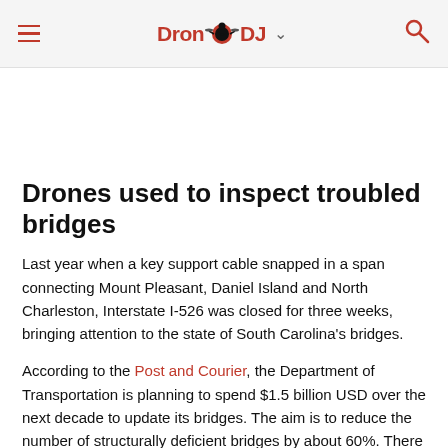DroneDJ
Drones used to inspect troubled bridges
Last year when a key support cable snapped in a span connecting Mount Pleasant, Daniel Island and North Charleston, Interstate I-526 was closed for three weeks, bringing attention to the state of South Carolina's bridges.
According to the Post and Courier, the Department of Transportation is planning to spend $1.5 billion USD over the next decade to update its bridges. The aim is to reduce the number of structurally deficient bridges by about 60%. There are over 9,000 bridges in SC and hundreds of them